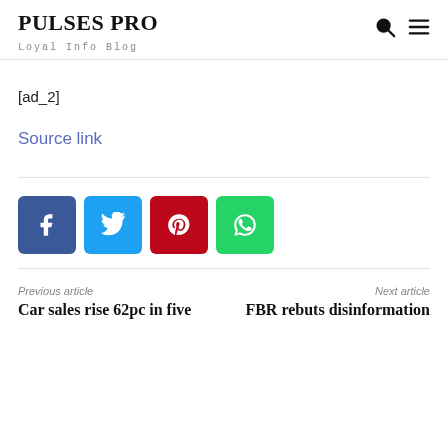PULSES PRO
Loyal Info Blog
[ad_2]
Source link
[Figure (other): Social share buttons: Facebook (blue), Twitter (light blue), Pinterest (red), WhatsApp (green)]
Previous article
Car sales rise 62pc in five
Next article
FBR rebuts disinformation